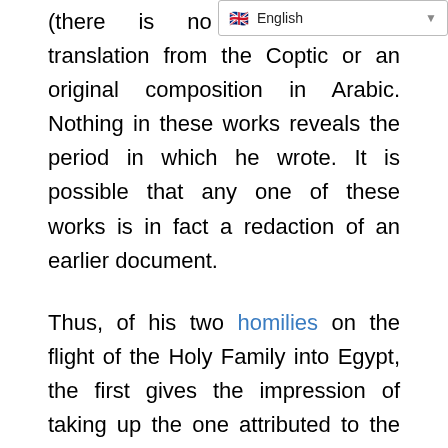[Figure (screenshot): Language selector dropdown showing English with a flag icon]
(there is no extant Coptic or an original translation from the Coptic or an original composition in Arabic. Nothing in these works reveals the period in which he wrote. It is possible that any one of these works is in fact a redaction of an earlier document.
Thus, of his two homilies on the flight of the Holy Family into Egypt, the first gives the impression of taking up the one attributed to the patriarch THEOPHILUS or that of ZACHARIAS of Sakha, while the second appears to be a plagiarizing of the first, the